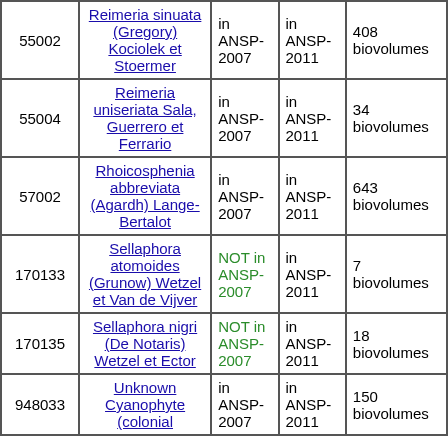| ID | Species | ANSP-2007 | ANSP-2011 | Biovolumes |
| --- | --- | --- | --- | --- |
| 55002 | Reimeria sinuata (Gregory) Kociolek et Stoermer | in ANSP-2007 | in ANSP-2011 | 408 biovolumes |
| 55004 | Reimeria uniseriata Sala, Guerrero et Ferrario | in ANSP-2007 | in ANSP-2011 | 34 biovolumes |
| 57002 | Rhoicosphenia abbreviata (Agardh) Lange-Bertalot | in ANSP-2007 | in ANSP-2011 | 643 biovolumes |
| 170133 | Sellaphora atomoides (Grunow) Wetzel et Van de Vijver | NOT in ANSP-2007 | in ANSP-2011 | 7 biovolumes |
| 170135 | Sellaphora nigri (De Notaris) Wetzel et Ector | NOT in ANSP-2007 | in ANSP-2011 | 18 biovolumes |
| 948033 | Unknown Cyanophyte (colonial | in ANSP-2007 | in ANSP-2011 | 150 biovolumes |